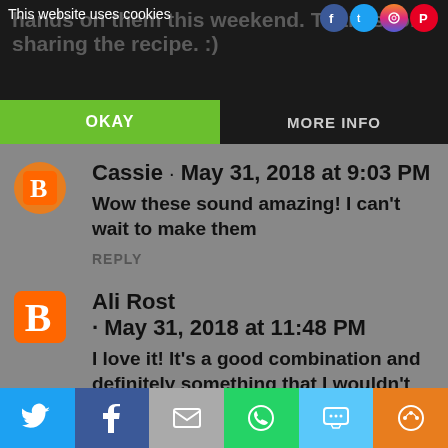hands on them this weekend. Thanks for sharing the recipe. :)
This website uses cookies
OKAY
MORE INFO
Cassie · May 31, 2018 at 9:03 PM
Wow these sound amazing! I can't wait to make them
REPLY
Ali Rost · May 31, 2018 at 11:48 PM
I love it! It's a good combination and definitely something that I wouldn't mind making as a treat for me and my husband. Cheesecake and doughnuts as a